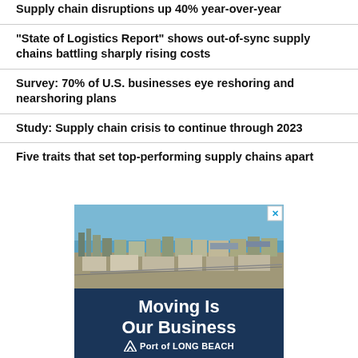Supply chain disruptions up 40% year-over-year
“State of Logistics Report” shows out-of-sync supply chains battling sharply rising costs
Survey: 70% of U.S. businesses eye reshoring and nearshoring plans
Study: Supply chain crisis to continue through 2023
Five traits that set top-performing supply chains apart
[Figure (photo): Aerial photo of Port of Long Beach with city skyline and harbor visible. Advertisement for Port of Long Beach with text 'Moving Is Our Business' and 'Port of LONG BEACH' logo below.]